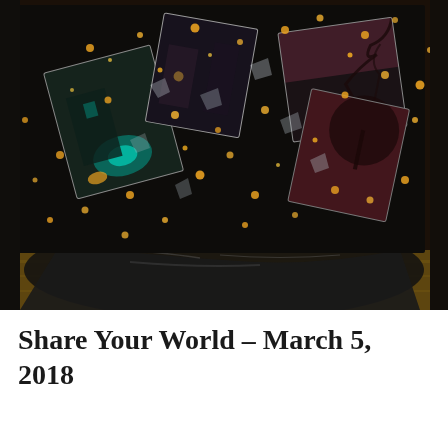[Figure (photo): Overhead photo of an art collage or mixed media work on a black plastic sheet on a wooden surface. The artwork shows nighttime urban photography prints with scattered orange/gold glitter or confetti pieces and mirror/glass fragments arranged across the dark background. Teal, amber and pink tones visible in the photo prints.]
Share Your World – March 5, 2018